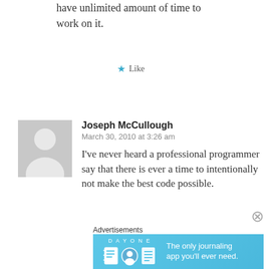have unlimited amount of time to work on it.
★ Like
[Figure (photo): Gray avatar placeholder image of a person silhouette]
Joseph McCullough
March 30, 2010 at 3:26 am
I've never heard a professional programmer say that there is ever a time to intentionally not make the best code possible.
Advertisements
[Figure (screenshot): DayOne app advertisement banner — blue background with DAY ONE text and icons, with tagline 'The only journaling app you'll ever need.']